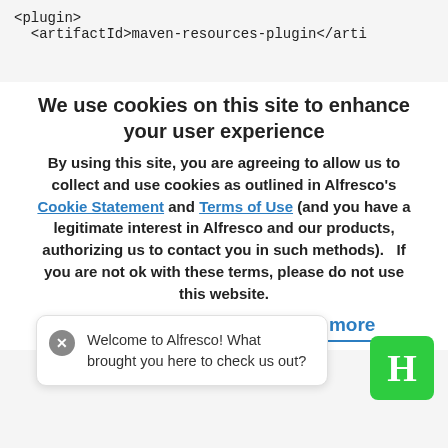<plugin>
  <artifactId>maven-resources-plugin</arti
We use cookies on this site to enhance your user experience
By using this site, you are agreeing to allow us to collect and use cookies as outlined in Alfresco's Cookie Statement and Terms of Use (and you have a legitimate interest in Alfresco and our products, authorizing us to contact you in such methods).   If you are not ok with these terms, please do not use this website.
OK, I agree    Find out more
<outputDirectory>${basedir}/target/aikau-sample/node_modules</outputDirectory>
  <n
Welcome to Alfresco! What brought you here to check us out?
<directory>${basedir}/node_mod